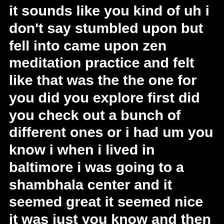it sounds like you kind of uh i don't say stumbled upon but fell into came upon zen meditation practice and felt like that was the the one for you did you explore first did you check out a bunch of different ones or i had um you know i when i lived in baltimore i was going to a shambhala center and it seemed great it seemed nice it was just you know and then i i sat with that one psychologist and then um what dr what drew me to zen is that you know my teacher will say it's a warrior's practice right um and he he has decades of martial arts experience with the sword he went to japan to study sword as well and ended up um kind of getting that's where he got into zen um and so being a marine and some of my first